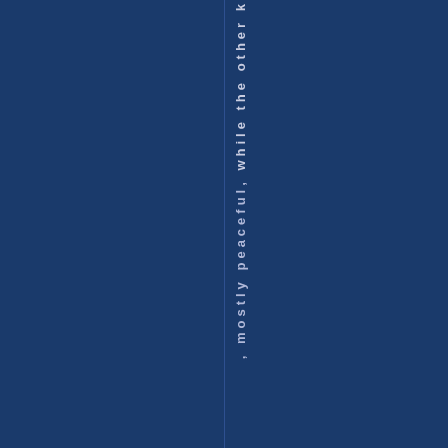[Figure (other): Dark navy blue background page with a vertical line and rotated text reading ', mostly peaceful, while the other k' displayed vertically along the center-left area of the page]